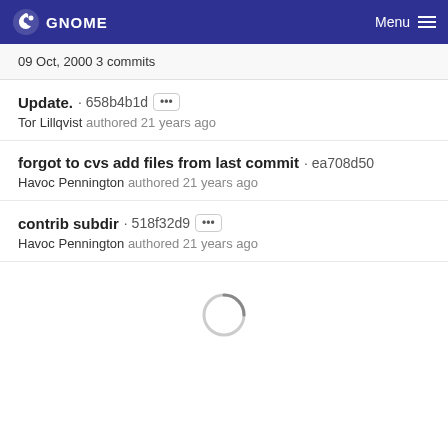GNOME  Menu
09 Oct, 2000 3 commits
Update. · 658b4b1d [...]
Tor Lillqvist authored 21 years ago
forgot to cvs add files from last commit · ea708d50
Havoc Pennington authored 21 years ago
contrib subdir · 518f32d9 [...]
Havoc Pennington authored 21 years ago
[Figure (other): Loading spinner circle]